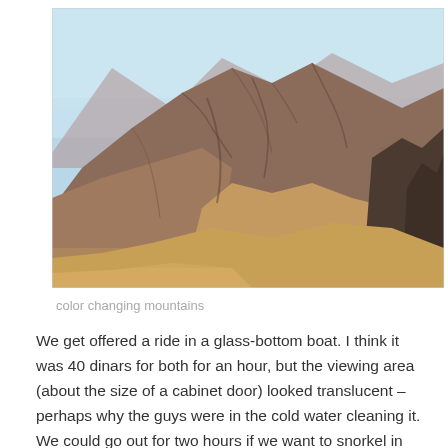[Figure (photo): Outdoor photograph of rugged desert mountains with rocky terrain in brown, tan, and rust tones under a pale blue sky. The mountains show layered geological formations with steep ridges.]
color changing mountains
We get offered a ride in a glass-bottom boat. I think it was 40 dinars for both for an hour, but the viewing area (about the size of a cabinet door) looked translucent – perhaps why the guys were in the cold water cleaning it. We could go out for two hours if we want to snorkel in the Red Sea, but not something Julie wants to do this 'late' in the